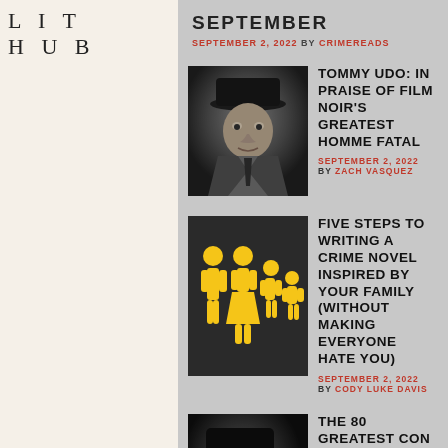LIT HUB
SEPTEMBER
SEPTEMBER 2, 2022 BY CRIMEREADS
[Figure (photo): Black and white photo of a man in a hat, film noir style]
TOMMY UDO: IN PRAISE OF FILM NOIR'S GREATEST HOMME FATAL
SEPTEMBER 2, 2022 BY ZACH VASQUEZ
[Figure (illustration): Yellow family silhouette icons on dark background]
FIVE STEPS TO WRITING A CRIME NOVEL INSPIRED BY YOUR FAMILY (WITHOUT MAKING EVERYONE HATE YOU)
SEPTEMBER 2, 2022 BY CODY LUKE DAVIS
[Figure (photo): Dark photo of a man in a hat touching his face, con artist style]
THE 80 GREATEST CON ARTISTS IN MOVIES AND TV, RANKED
SEPTEMBER 1, 2022 BY OLIVIA RUTIGLIANO
[Figure (photo): Bright blue swimming pool or water texture photo]
WHY DO VACATION SPOTS MAKE PERFECT CRIME SETTINGS?